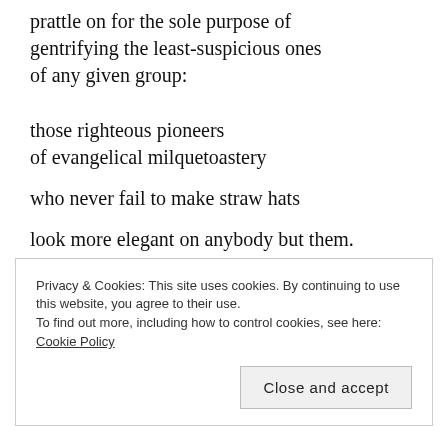prattle on for the sole purpose of gentrifying the least-suspicious ones of any given group:

those righteous pioneers of evangelical milquetoastery

who never fail to make straw hats

look more elegant on anybody but them.

Straw hats, beanies, pork pies,

snapbacks–their notion

that any headwear
Privacy & Cookies: This site uses cookies. By continuing to use this website, you agree to their use.
To find out more, including how to control cookies, see here: Cookie Policy
Close and accept